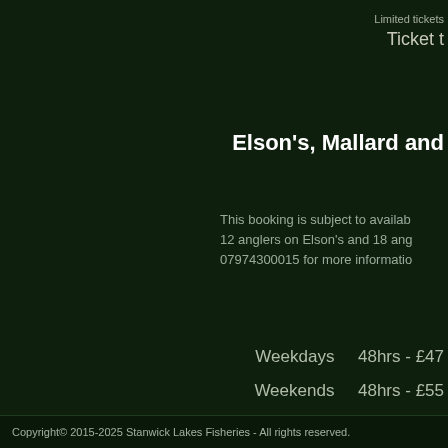Limited tickets
Ticket
Elson's, Mallard and
This booking is subject to availability. 12 anglers on Elson's and 18 anglers. 07974300015 for more information.
Weekdays    48hrs - £47.50
Weekends    48hrs - £55
NO  24hr book
Copyright© 2015-2025 Stanwick Lakes Fisheries - All rights reserved.